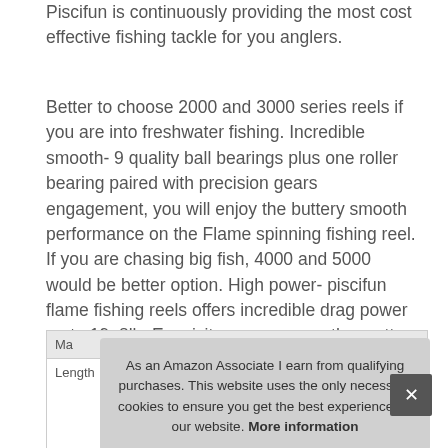Piscifun is continuously providing the most cost effective fishing tackle for you anglers.
Better to choose 2000 and 3000 series reels if you are into freshwater fishing. Incredible smooth- 9 quality ball bearings plus one roller bearing paired with precision gears engagement, you will enjoy the buttery smooth performance on the Flame spinning fishing reel. If you are chasing big fish, 4000 and 5000 would be better option. High power- piscifun flame fishing reels offers incredible drag power up to 19. 8lb. Exquisite appearance- the matte black body paired with red aluminum spool, perfectly indicate its name Flame.
| Ma |  |
| --- | --- |
| Length | 0.1 Inches |
As an Amazon Associate I earn from qualifying purchases. This website uses the only necessary cookies to ensure you get the best experience on our website. More information